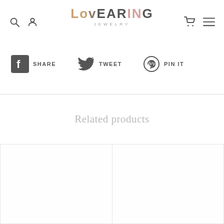LOVEARING JEWELRY — navigation header with search, user, cart, and menu icons
SHARE   TWEET   PIN IT
Related products
[Figure (other): Two empty product image placeholders in a two-column grid]